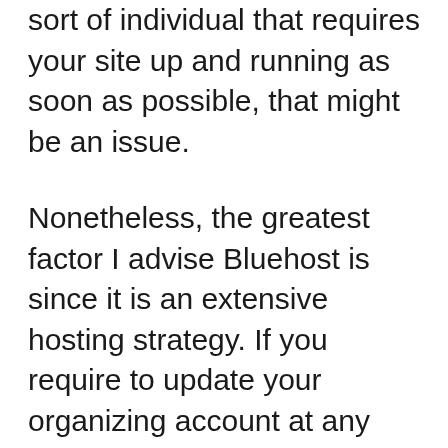sort of individual that requires your site up and running as soon as possible, that might be an issue.
Nonetheless, the greatest factor I advise Bluehost is since it is an extensive hosting strategy. If you require to update your organizing account at any type of point, you can always do so at a very practical cost.
One more essential facet is that Bluehost will help you produce a full-featured internet site that's responsive. For example, it has the capacity to handle PHP applications, blogs, social media integration, as well as many various other features that host don't have. You'll be able to focus on advertising your organization rather than creating the most